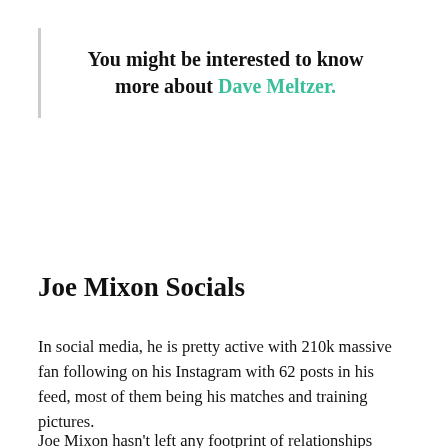You might be interested to know more about Dave Meltzer.
Joe Mixon Socials
In social media, he is pretty active with 210k massive fan following on his Instagram with 62 posts in his feed, most of them being his matches and training pictures.
Joe Mixon hasn't left any footprint of relationships